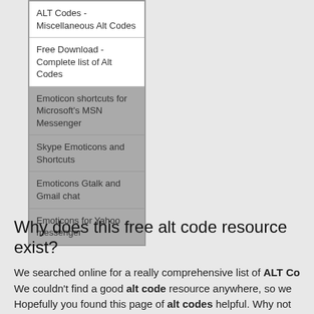| ALT Codes - Miscellaneous Alt Codes |
| Free Download - Complete list of Alt Codes |
| Emoticon shortcuts for Microsoft's MSN Messenger |
| Skype Emoticons and Shortcuts |
| Emoticons Gtalk and Gmail chat |
| Emoticons for Yahoo messenger |
Why does this free alt code resource exist?
We searched online for a really comprehensive list of ALT Codes. We couldn't find a good alt code resource anywhere, so we... Hopefully you found this page of alt codes helpful. Why not...